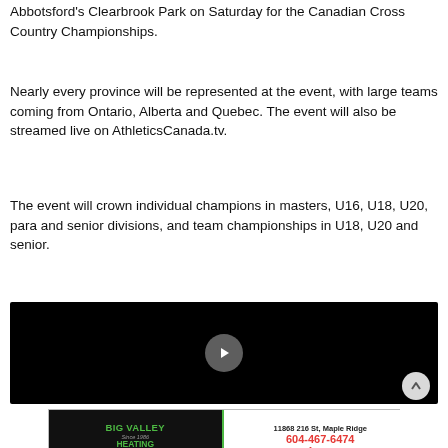Abbotsford's Clearbrook Park on Saturday for the Canadian Cross Country Championships.
Nearly every province will be represented at the event, with large teams coming from Ontario, Alberta and Quebec. The event will also be streamed live on AthleticsCanada.tv.
The event will crown individual champions in masters, U16, U18, U20, para and senior divisions, and team championships in U18, U20 and senior.
[Figure (screenshot): Black video player with play button overlay and advertisement banner at bottom showing Big Valley Heating and Air Conditioning with phone number 604-467-6474 and address 11868 216 St, Maple Ridge]